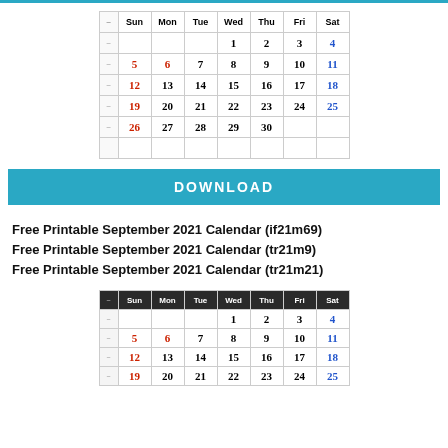[Figure (other): September 2021 calendar grid showing dates 1-30 with Sunday and week columns, Sundays in red, Saturdays in blue]
DOWNLOAD
Free Printable September 2021 Calendar (if21m69)
Free Printable September 2021 Calendar (tr21m9)
Free Printable September 2021 Calendar (tr21m21)
[Figure (other): Second September 2021 calendar grid (partial view) with dark header row]